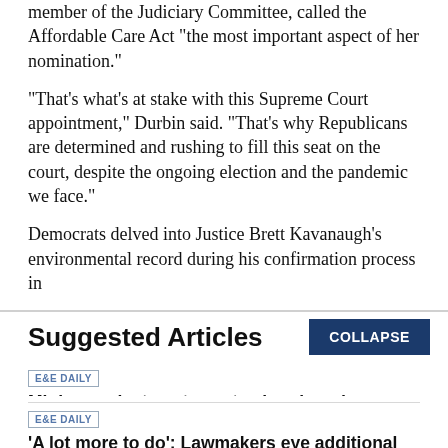member of the Judiciary Committee, called the Affordable Care Act "the most important aspect of her nomination."
"That's what's at stake with this Supreme Court appointment," Durbin said. "That's why Republicans are determined and rushing to fill this seat on the court, despite the ongoing election and the pandemic we face."
Democrats delved into Justice Brett Kavanaugh's environmental record during his confirmation process in
Suggested Articles
E&E DAILY
Mining projects get new tax break under climate bill
BY Jael Holzman | 08/15/2022 06:16 AM EDT
Read More >>
E&E DAILY
'A lot more to do': Lawmakers eye additional climate action